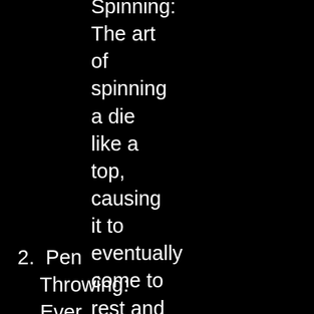Spinning: The art of spinning a die like a top, causing it to eventually come to rest and reveal a randomly chosen number from 1 to 6!
2. Pen Throwing: Ever wanted to use a simple office-